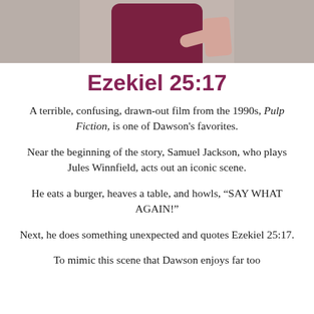[Figure (photo): Top portion of a person wearing a dark red/maroon shirt, cropped at the torso, with a light/beige background]
Ezekiel 25:17
A terrible, confusing, drawn-out film from the 1990s, Pulp Fiction, is one of Dawson's favorites.
Near the beginning of the story, Samuel Jackson, who plays Jules Winnfield, acts out an iconic scene.
He eats a burger, heaves a table, and howls, “SAY WHAT AGAIN!”
Next, he does something unexpected and quotes Ezekiel 25:17.
To mimic this scene that Dawson enjoys far too